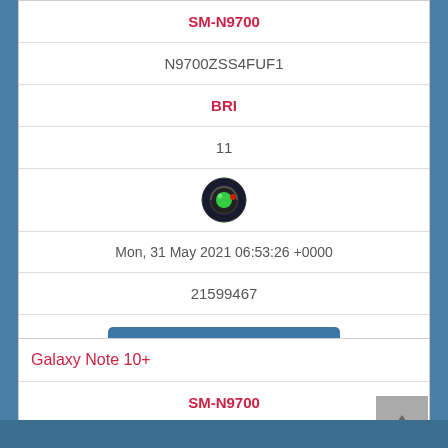| SM-N9700 |
| N9700ZSS4FUF1 |
| BRI |
| 11 |
| [icon] |
| Mon, 31 May 2021 06:53:26 +0000 |
| 21599467 |
| READ MORE |
| Galaxy Note 10+ |
| --- |
| SM-N9700 |